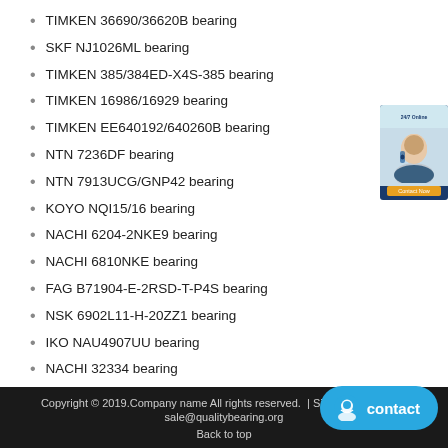TIMKEN 36690/36620B bearing
SKF NJ1026ML bearing
TIMKEN 385/384ED-X4S-385 bearing
TIMKEN 16986/16929 bearing
TIMKEN EE640192/640260B bearing
NTN 7236DF bearing
NTN 7913UCG/GNP42 bearing
KOYO NQI15/16 bearing
NACHI 6204-2NKE9 bearing
NACHI 6810NKE bearing
FAG B71904-E-2RSD-T-P4S bearing
NSK 6902L11-H-20ZZ1 bearing
IKO NAU4907UU bearing
NACHI 32334 bearing
NACHI 21322EX1 bearing
KOYO 7220C bearing
INA BCE2610 bearing
[Figure (photo): Customer service representative widget on right side]
Copyright © 2019.Company name All rights reserved. | Sitemap... ail: sale@qualitybearing.org
Back to top